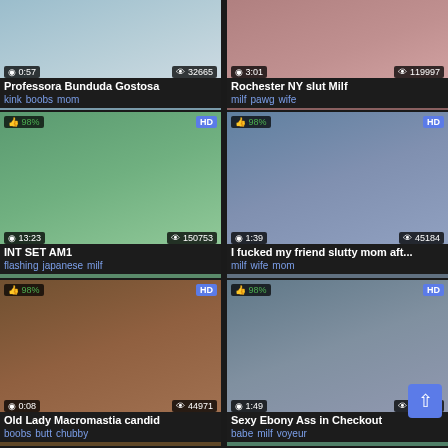[Figure (screenshot): Video thumbnail row 1 left - Professora Bunduda Gostosa, duration 0:57, views 32665]
[Figure (screenshot): Video thumbnail row 1 right - Rochester NY slut Milf, duration 3:01, views 119997]
Professora Bunduda Gostosa
kink boobs mom
Rochester NY slut Milf
milf pawg wife
[Figure (screenshot): Video thumbnail row 2 left - INT SET AM1, 98% like, HD, duration 13:23, views 150753]
[Figure (screenshot): Video thumbnail row 2 right - I fucked my friend slutty mom aft..., 98% like, HD, duration 1:39, views 45184]
INT SET AM1
flashing japanese milf
I fucked my friend slutty mom aft...
milf wife mom
[Figure (screenshot): Video thumbnail row 3 left - Old Lady Macromastia candid, 98% like, HD, duration 0:08, views 44971]
[Figure (screenshot): Video thumbnail row 3 right - Sexy Ebony Ass in Checkout, 98% like, HD, duration 1:49, views 104054]
Old Lady Macromastia candid
boobs butt chubby
Sexy Ebony Ass in Checkout
babe milf voyeur